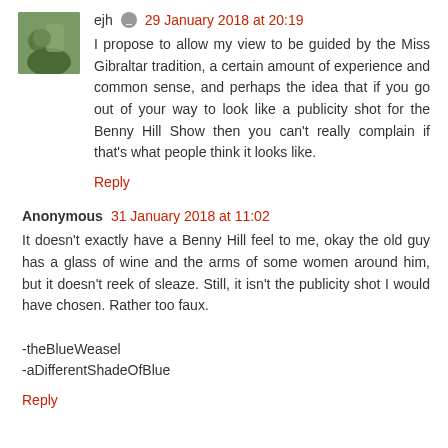ejh · 29 January 2018 at 20:19
I propose to allow my view to be guided by the Miss Gibraltar tradition, a certain amount of experience and common sense, and perhaps the idea that if you go out of your way to look like a publicity shot for the Benny Hill Show then you can't really complain if that's what people think it looks like.
Reply
Anonymous 31 January 2018 at 11:02
It doesn't exactly have a Benny Hill feel to me, okay the old guy has a glass of wine and the arms of some women around him, but it doesn't reek of sleaze. Still, it isn't the publicity shot I would have chosen. Rather too faux.

-theBlueWeasel
-aDifferentShadeOfBlue
Reply